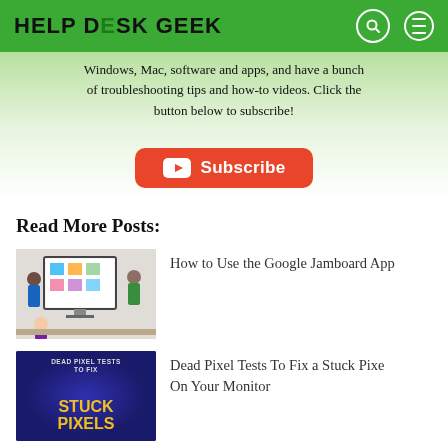HELP DESK GEEK
Windows, Mac, software and apps, and have a bunch of troubleshooting tips and how-to videos. Click the button below to subscribe!
[Figure (other): Red YouTube Subscribe button with YouTube play icon]
Read More Posts:
[Figure (photo): People using Google Jamboard app on a large screen in a meeting room]
How to Use the Google Jamboard App
[Figure (photo): Dead Pixel Tests To Fix a Stuck Pixels On Your Monitor - dark blue background with yellow text]
Dead Pixel Tests To Fix a Stuck Pixe On Your Monitor